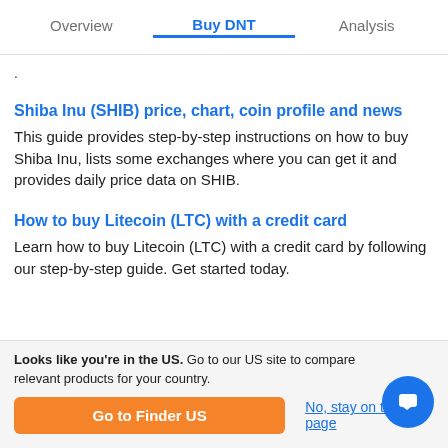Overview | Buy DNT | Analysis
.
Shiba Inu (SHIB) price, chart, coin profile and news
This guide provides step-by-step instructions on how to buy Shiba Inu, lists some exchanges where you can get it and provides daily price data on SHIB.
How to buy Litecoin (LTC) with a credit card
Learn how to buy Litecoin (LTC) with a credit card by following our step-by-step guide. Get started today.
Looks like you're in the US. Go to our US site to compare relevant products for your country.
Go to Finder US
No, stay on this page